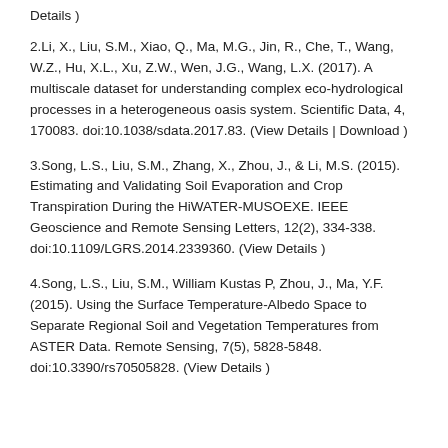Details )
2.Li, X., Liu, S.M., Xiao, Q., Ma, M.G., Jin, R., Che, T., Wang, W.Z., Hu, X.L., Xu, Z.W., Wen, J.G., Wang, L.X. (2017). A multiscale dataset for understanding complex eco-hydrological processes in a heterogeneous oasis system. Scientific Data, 4, 170083. doi:10.1038/sdata.2017.83. (View Details | Download )
3.Song, L.S., Liu, S.M., Zhang, X., Zhou, J., & Li, M.S. (2015). Estimating and Validating Soil Evaporation and Crop Transpiration During the HiWATER-MUSOEXE. IEEE Geoscience and Remote Sensing Letters, 12(2), 334-338. doi:10.1109/LGRS.2014.2339360. (View Details )
4.Song, L.S., Liu, S.M., William Kustas P, Zhou, J., Ma, Y.F. (2015). Using the Surface Temperature-Albedo Space to Separate Regional Soil and Vegetation Temperatures from ASTER Data. Remote Sensing, 7(5), 5828-5848. doi:10.3390/rs70505828. (View Details )